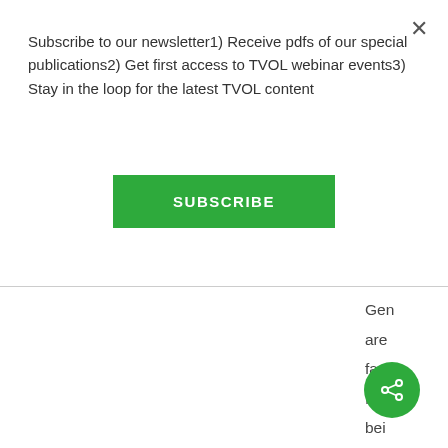Subscribe to our newsletter1) Receive pdfs of our special publications2) Get first access to TVOL webinar events3) Stay in the loop for the latest TVOL content
SUBSCRIBE
Gen are far fro bei im e of